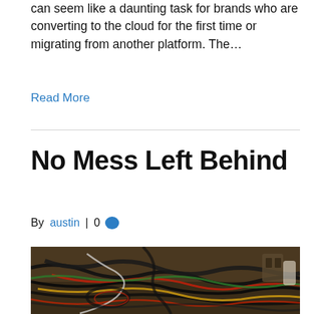can seem like a daunting task for brands who are converting to the cloud for the first time or migrating from another platform. The…
Read More
No Mess Left Behind
By austin | 0 💬
[Figure (photo): A tangled mess of multicolored cables and wires in a dark cluttered space]